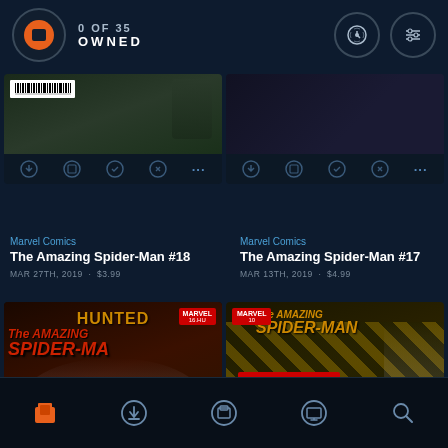0 OF 35 OWNED
Marvel Comics
The Amazing Spider-Man #18
MAR 27TH, 2019 · $3.99
Marvel Comics
The Amazing Spider-Man #17
MAR 13TH, 2019 · $4.99
[Figure (screenshot): Comic cover for The Amazing Spider-Man #18 (Hunted arc)]
[Figure (screenshot): Comic cover for The Amazing Spider-Man #16]